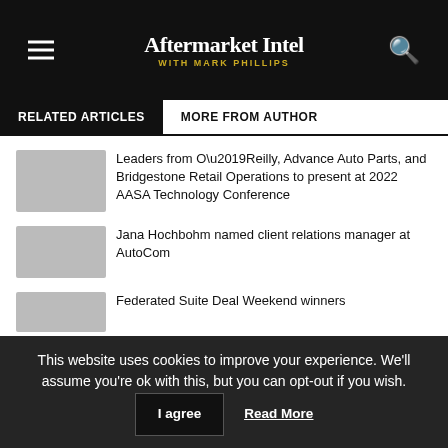Aftermarket Intel with Mark Phillips
RELATED ARTICLES | MORE FROM AUTHOR
Leaders from O’Reilly, Advance Auto Parts, and Bridgestone Retail Operations to present at 2022 AASA Technology Conference
Jana Hochbohm named client relations manager at AutoCom
Federated Suite Deal Weekend winners
This website uses cookies to improve your experience. We'll assume you're ok with this, but you can opt-out if you wish.